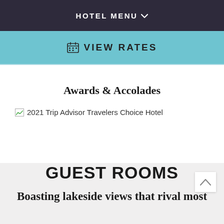HOTEL MENU
VIEW RATES
Awards & Accolades
2021 Trip Advisor Travelers Choice Hotel
GUEST ROOMS
Boasting lakeside views that rival most